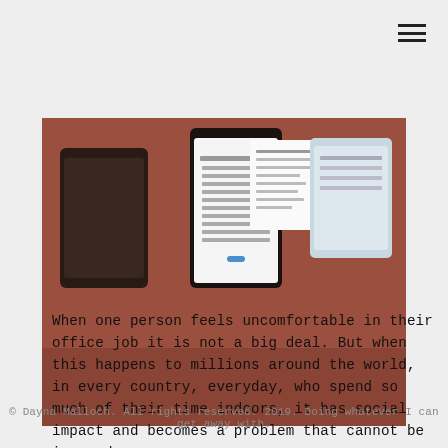[Figure (photo): Photo of mobile devices/smartphones displayed on a reddish-brown surface, showing app screens with text and menus.]
When one person feels uncomfortable in their office job it is not a big deal. But when this happens to millions around the world, in every country, everyday, who spend so much of their time indoors, it has social impact and becomes a problem that cannot be ignored.
© Dayna Malloch. All rights reserved. 2019. Doing whatever I can get away with.